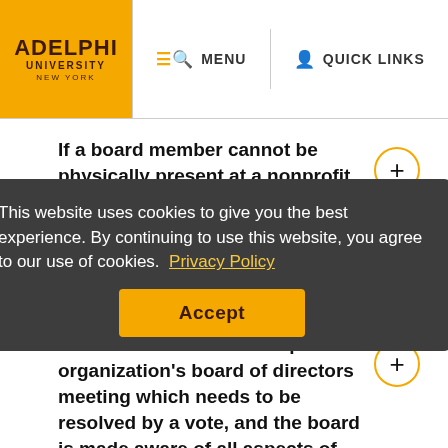Adelphi University New York | MENU | QUICK LINKS
If a board member cannot be physically present at a nonprofit organization's board of directors meeting, is it permissible for that member to participate in the meeting by telephone?
If an issue arises at a nonprofit organization's board of directors meeting which needs to be resolved by a vote, and the board is made aware of all aspects of the issue, can a board member who cannot attend the meeting email his/her vote to the executive director?
This website uses cookies to give you the best experience. By continuing to use this website, you agree to our use of cookies. Privacy Policy
Accept